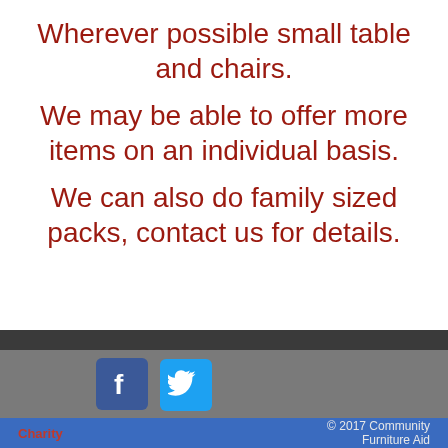Wherever possible small table and chairs.
We may be able to offer more items on an individual basis.
We can also do family sized packs, contact us for details.
[Figure (illustration): Facebook and Twitter social media icons in footer area]
Charity   © 2017  Community Furniture Aid